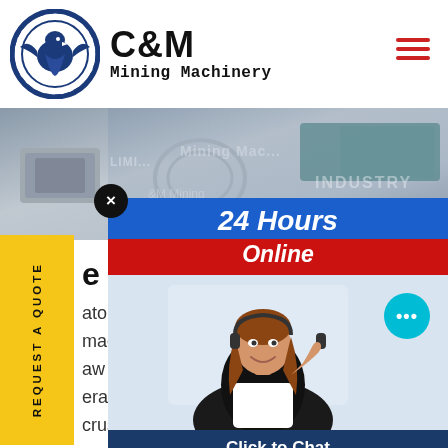[Figure (logo): C&M Mining Machinery logo with eagle/gear circle icon and bold C&M text with Mining Machinery subtitle]
[Figure (photo): Industrial machinery parts (crusher components) with C&M Mining Machinery watermark, LIMIT and INDUSTRY overlay text]
[Figure (infographic): 24 Hours Online chat panel with female customer service agent, chat bubble, Click to Chat and Enquiry buttons]
e reduction crushers f
atory Crusher Mechanism Filety machine designed to reduce la aw material performed by mec erated equipment like jaw crush crusher and The mechanism of cru applying impact force, In this pape done with help of Point-Load Defor
REQUEST A QUOTE